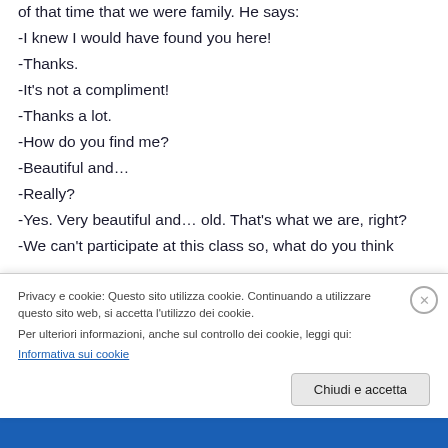of that time that we were family. He says:
-I knew I would have found you here!
-Thanks.
-It’s not a compliment!
-Thanks a lot.
-How do you find me?
-Beautiful and…
-Really?
-Yes. Very beautiful and… old. That’s what we are, right?
-We can’t participate at this class so, what do you think
Privacy e cookie: Questo sito utilizza cookie. Continuando a utilizzare questo sito web, si accetta l’utilizzo dei cookie.
Per ulteriori informazioni, anche sul controllo dei cookie, leggi qui:
Informativa sui cookie
Chiudi e accetta